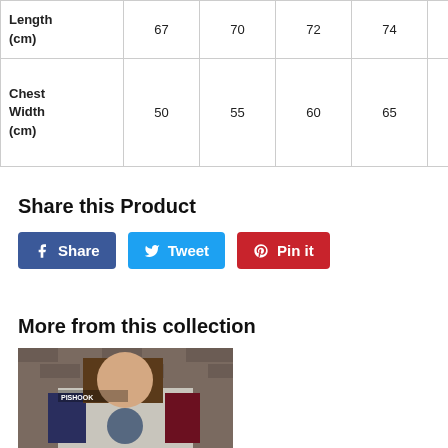|  | S | M | L | XL | XXL |
| --- | --- | --- | --- | --- | --- |
| Length (cm) | 67 | 70 | 72 | 74 | 76 |
| Chest Width (cm) | 50 | 55 | 60 | 65 | 70 |
Share this Product
Share  Tweet  Pin it
More from this collection
[Figure (photo): Woman wearing a grey t-shirt with dark red/navy raglan sleeves and a circular graphic, standing in front of a brick wall. PISHOOK logo visible in top left corner.]